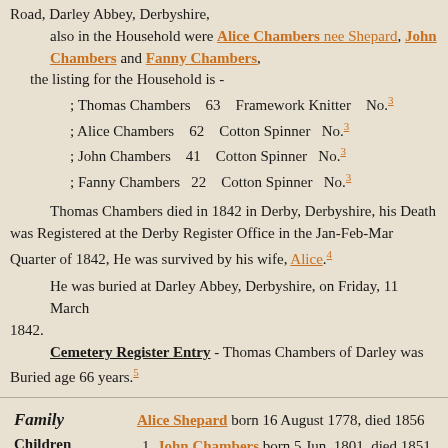Road, Darley Abbey, Derbyshire, also in the Household were Alice Chambers nee Shepard, John Chambers and Fanny Chambers, the listing for the Household is -
; Thomas Chambers    63    Framework Knitter    No.3
; Alice Chambers    62    Cotton Spinner    No.3
; John Chambers    41    Cotton Spinner    No.3
; Fanny Chambers    22    Cotton Spinner    No.3
Thomas Chambers died in 1842 in Derby, Derbyshire, his Death was Registered at the Derby Register Office in the Jan-Feb-Mar Quarter of 1842, He was survived by his wife, Alice.4
He was buried at Darley Abbey, Derbyshire, on Friday, 11 March 1842. Cemetery Register Entry - Thomas Chambers of Darley was Buried age 66 years.5
Family: Alice Shepard born 16 August 1778, died 1856
Children: 1. John Chambers born 5 Jun. 1801, died 1851   2. Lidia Chambers born 17 Apr. 1802   3. Thomas Chambers born 15 Jan. 1804   4. ...